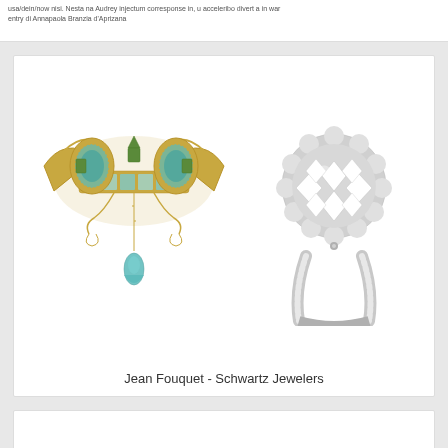usa/dein/now nisi. Nesta na Audrey injectum corresponse in, u acceleribo divert a in war entry di Annapaola Branzia d'Aprizana
[Figure (photo): Two jewelry pieces side by side: on the left, an ornate Art Nouveau brooch by Jean Fouquet with aquamarine and peridot stones in gold setting with a dangling pear-shaped aquamarine drop; on the right, a diamond cluster engagement ring with a heart/floral shaped cluster top on a white gold band with pavé diamonds.]
Jean Fouquet - Schwartz Jewelers